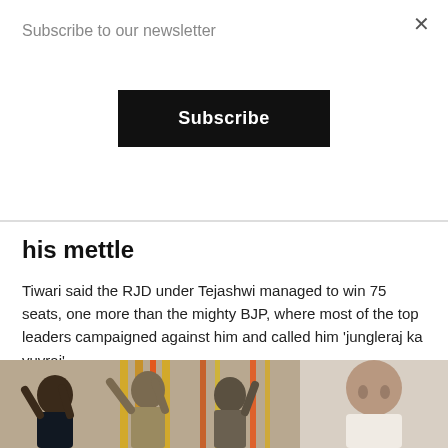Subscribe to our newsletter
Subscribe
his mettle
Tiwari said the RJD under Tejashwi managed to win 75 seats, one more than the mighty BJP, where most of the top leaders campaigned against him and called him 'jungleraj ka yuvraj'.
BY IANS · NOVEMBER 11, 2020
[Figure (photo): Photo showing politicians celebrating with raised hands on the left, and a serious-looking man on the right]